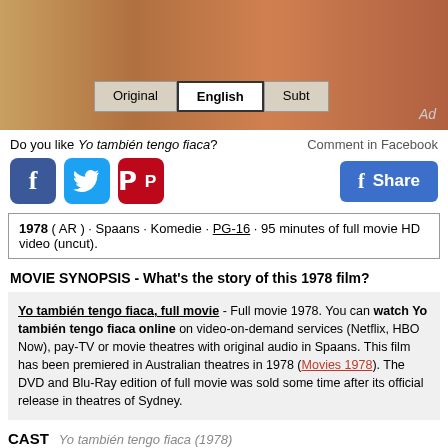[Figure (screenshot): Banner image of movie with Original/English/Subt language selector buttons and Ad label]
Do you like Yo también tengo fiaca?
Comment in Facebook
[Figure (infographic): Social share buttons: Facebook (blue), Twitter (cyan), Pinterest (red), and Facebook Share button]
1978 ( AR ) · Spaans · Komedie · PG-16 · 95 minutes of full movie HD video (uncut).
MOVIE SYNOPSIS - What's the story of this 1978 film?
Yo también tengo fiaca, full movie - Full movie 1978. You can watch Yo también tengo fiaca online on video-on-demand services (Netflix, HBO Now), pay-TV or movie theatres with original audio in Spaans. This film has been premiered in Australian theatres in 1978 (Movies 1978). The DVD and Blu-Ray edition of full movie was sold some time after its official release in theatres of Sydney.
CAST  Yo también tengo fiaca (1978)
Susana Giménez
Filmography
Santiago Bal
Filmography
Juan Carlos Calabró
Osvaldo Pacheco